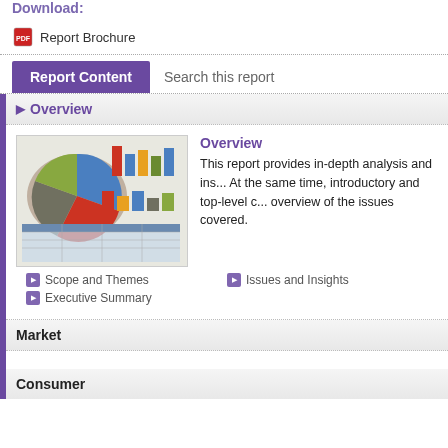Download:
Report Brochure
Report Content | Search this report
Overview
[Figure (other): Charts and graphs image showing bar charts and pie chart in a report thumbnail]
Overview
This report provides in-depth analysis and ins... At the same time, introductory and top-level c... overview of the issues covered.
Scope and Themes
Issues and Insights
Executive Summary
Market
Consumer